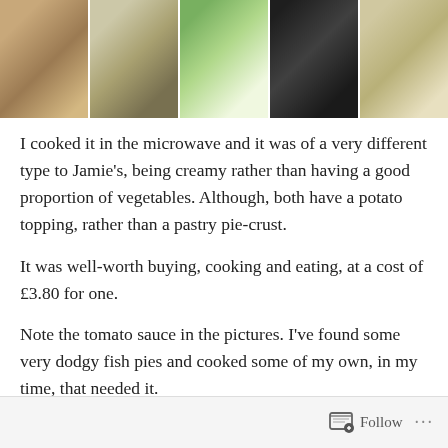[Figure (photo): Strip of five food photos showing fish pie in packaging, box instructions, unbaked pie, cooked pie on black tray, and plated portion on decorative plate]
I cooked it in the microwave and it was of a very different type to Jamie’s, being creamy rather than having a good proportion of vegetables. Although, both have a potato topping, rather than a pastry pie-crust.
It was well-worth buying, cooking and eating, at a cost of £3.80 for one.
Note the tomato sauce in the pictures. I’ve found some very dodgy fish pies and cooked some of my own, in my time, that needed it.
This one certainly did not!
Follow